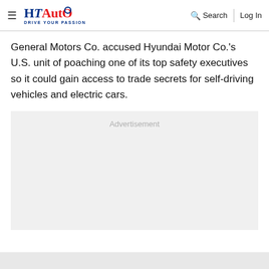HT Auto - Drive Your Passion | Search | Log In
General Motors Co. accused Hyundai Motor Co.'s U.S. unit of poaching one of its top safety executives so it could gain access to trade secrets for self-driving vehicles and electric cars.
[Figure (other): Advertisement placeholder box with light gray background and 'Advertisement' label text in gray]